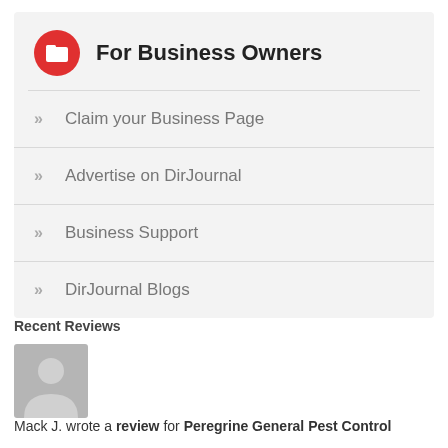For Business Owners
Claim your Business Page
Advertise on DirJournal
Business Support
DirJournal Blogs
Recent Reviews
[Figure (illustration): Gray avatar placeholder showing a silhouette of a person]
Mack J. wrote a review for Peregrine General Pest Control